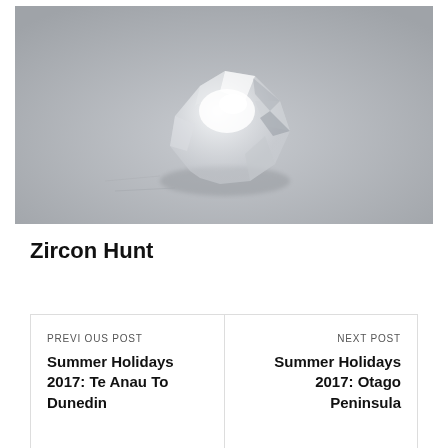[Figure (photo): Close-up photo of a translucent zircon crystal specimen on a grey surface. The crystal is irregularly shaped and reflective with bright highlights.]
Zircon Hunt
PREVIOUS POST
Summer Holidays 2017: Te Anau To Dunedin
NEXT POST
Summer Holidays 2017: Otago Peninsula